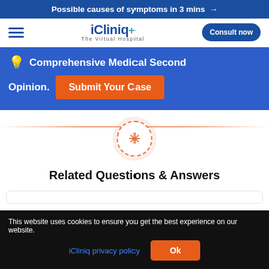Possible causes of symptoms in 3 mins →
[Figure (logo): iCliniq+ The Virtual Hospital logo with hamburger menu and Consult now button]
Comprehensive Medical Second Opinion. Submit Your Case
[Figure (illustration): Orange divider line with dashed-border circle containing orange asterisk/star icon]
Related Questions & Answers
This website uses cookies to ensure you get the best experience on our website.
iCliniq privacy policy  Ok